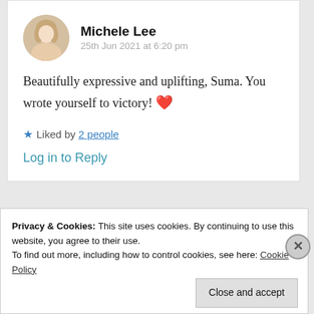Michele Lee
25th Jun 2021 at 6:20 pm
Beautifully expressive and uplifting, Suma. You wrote yourself to victory! ❤️
★ Liked by 2 people
Log in to Reply
Privacy & Cookies: This site uses cookies. By continuing to use this website, you agree to their use.
To find out more, including how to control cookies, see here: Cookie Policy
Close and accept